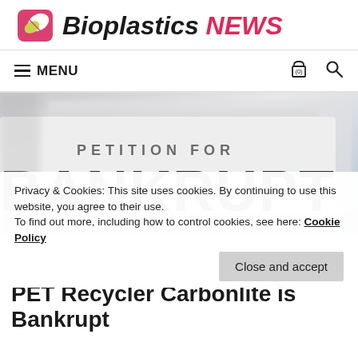Bioplastics NEWS
MENU (0)
[Figure (photo): Close-up photo of a document titled 'PETITION FOR BANKRUPT' (bankruptcy petition paperwork), showing large bold text 'BANKRUPT' and smaller text 'PETITION FOR' above it, with blurred background papers.]
Privacy & Cookies: This site uses cookies. By continuing to use this website, you agree to their use.
To find out more, including how to control cookies, see here: Cookie Policy
Close and accept
PET Recycler Carbonlite is Bankrupt